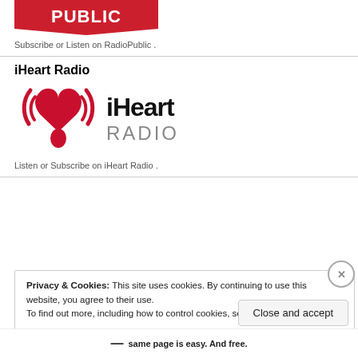[Figure (logo): RadioPublic logo — red banner with white text]
Subscribe or Listen on RadioPublic .
iHeart Radio
[Figure (logo): iHeart Radio logo — red heart with signal waves and bold iHeart RADIO text]
Listen or Subscribe on iHeart Radio .
Privacy & Cookies: This site uses cookies. By continuing to use this website, you agree to their use. To find out more, including how to control cookies, see here: Cookie Policy
same page is easy. And free.